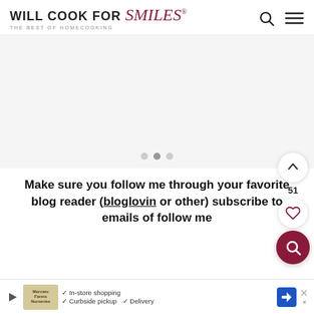WILL COOK FOR Smiles® THE BEST OF HOMECOOKING
[Figure (screenshot): Slideshow ad banner area with three navigation dots at bottom center, light gray background]
Make sure you follow me through your favorite blog reader (bloglovin or other) subscribe to emails of follow me
[Figure (screenshot): Bottom advertisement banner with Mercato Farms Nurseries logo, checkmarks for In-store shopping, Curbside pickup, Delivery, navigation icon, and close X button]